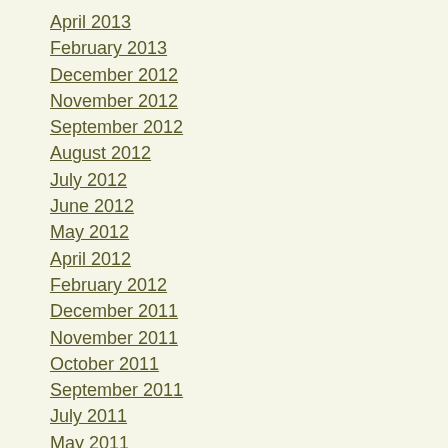April 2013
February 2013
December 2012
November 2012
September 2012
August 2012
July 2012
June 2012
May 2012
April 2012
February 2012
December 2011
November 2011
October 2011
September 2011
July 2011
May 2011
April 2011
March 2011